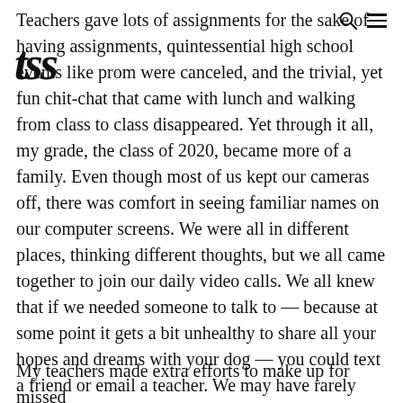[search icon] [hamburger menu]
Teachers gave lots of assignments for the sake of having assignments, quintessential high school events like prom were canceled, and the trivial, yet fun chit-chat that came with lunch and walking from class to class disappeared. Yet through it all, my grade, the class of 2020, became more of a family. Even though most of us kept our cameras off, there was comfort in seeing familiar names on our computer screens. We were all in different places, thinking different thoughts, but we all came together to join our daily video calls. We all knew that if we needed someone to talk to — because at some point it gets a bit unhealthy to share all your hopes and dreams with your dog — you could text a friend or email a teacher. We may have rarely seen each other's faces in class, but all we needed was a name in the corner of the screen to know that we had each other's backs during an odd time in our lives.
My teachers made extra efforts to make up for missed